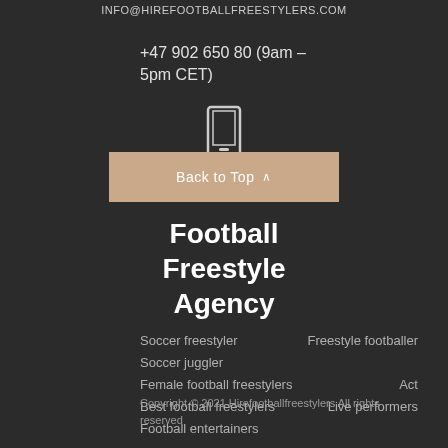INFO@HIREFOOTBALLFREESTYLERS.COM
+47 902 650 80 (9am - 5pm CET)
[Figure (illustration): Mobile phone icon (outline)]
Back to Top ∧
Football Freestyle Agency
Soccer freestyler
Freestyle footballer
Soccer juggler
Female football freestylers
Act
Best football freestylers
Live performers
Football entertainers
Copyright © 2021 Hirefootballfreestylers All rights reserved